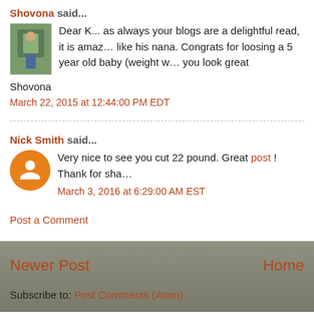Shovona said...
Dear K... as always your blogs are a delightful read, it is amaz... like his nana. Congrats for loosing a 5 year old baby (weight w... you look great

Shovona
March 22, 2015 at 12:44:00 PM EDT
Nick Smith said...
Very nice to see you cut 22 pound. Great post ! Thank for sha...
March 3, 2016 at 6:29:00 AM EST
Post a Comment
Newer Post
Home
Subscribe to: Post Comments (Atom)